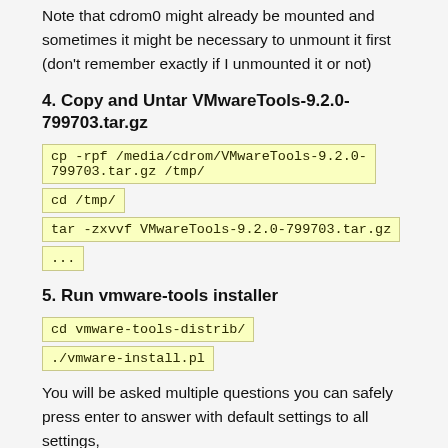Note that cdrom0 might already be mounted and sometimes it might be necessary to unmount it first (don't remember exactly if I unmounted it or not)
4. Copy and Untar VMwareTools-9.2.0-799703.tar.gz
cp -rpf /media/cdrom/VMwareTools-9.2.0-799703.tar.gz /tmp/
cd /tmp/
tar -zxvvf VMwareTools-9.2.0-799703.tar.gz
...
5. Run vmware-tools installer
cd vmware-tools-distrib/
./vmware-install.pl
You will be asked multiple questions you can safely press enter to answer with default settings to all settings,